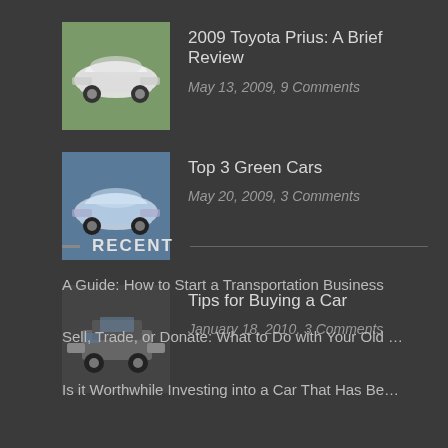2009 Toyota Prius: A Brief Review
May 13, 2009, 9 Comments
Top 3 Green Cars
May 20, 2009, 3 Comments
Tips for Buying a Car
January 18, 2010, 3 Comments
RECENT
A Guide: How to Start a Transportation Business
Sell, Trade, or Donate: What to Do with Your Old …
Is it Worthwhile Investing into a Car That Has Be…